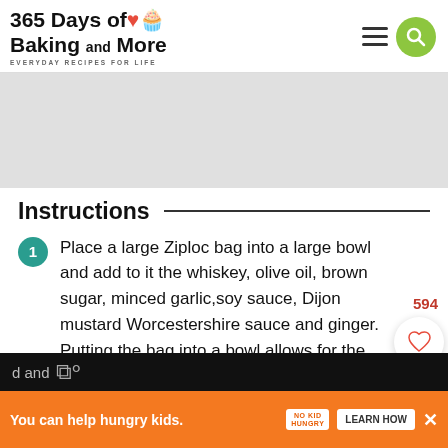365 Days of Baking and More — EVERYDAY RECIPES FOR LIFE
[Figure (other): Gray advertisement placeholder banner]
Instructions
Place a large Ziploc bag into a large bowl and add to it the whiskey, olive oil, brown sugar, minced garlic,soy sauce, Dijon mustard Worcestershire sauce and ginger. Putting the bag into a bowl allows for the ease of adding the ingredients without the fear of it spilling over.
Seal the bag and mix well.
[Figure (other): Bottom advertisement banner: You can help hungry kids. No Kid Hungry. LEARN HOW]